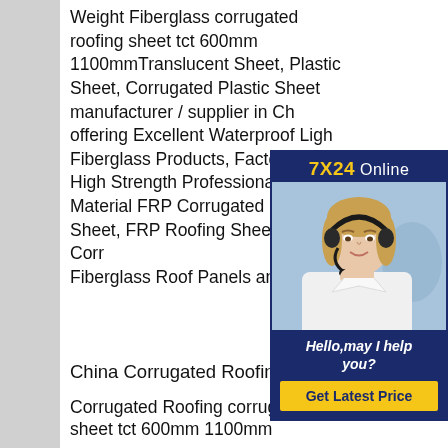Weight Fiberglass corrugated roofing sheet tct 600mm 1100mmTranslucent Sheet, Plastic Sheet, Corrugated Plastic Sheet manufacturer / supplier in China, offering Excellent Waterproof Light Weight Fiberglass Products, Factory Price High Strength Professional Building Material FRP Corrugated Fiberglass Sheet, FRP Roofing Sheets, Corrugated Fiberglass Roof Panels and so on.
[Figure (photo): Chat widget with '7X24 Online' header, photo of a woman with a headset, 'Hello,may I help you?' text, and a 'Get Latest Price' yellow button]
China Corrugated Roofing Metal Sheet
Corrugated Roofing corrugated roofing sheet tct 600mm 1100mm
China Corrugated Roofing Metal Sheet manufacturers - Select 2020 high quality Corrugated Roofing Metal Sheet products in best price from certified Chin...